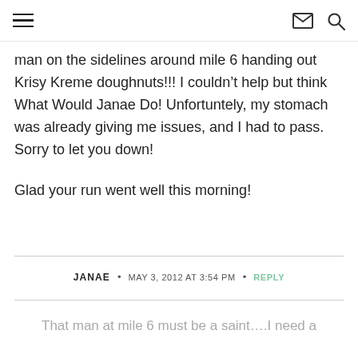Navigation menu, email icon, search icon
man on the sidelines around mile 6 handing out Krisy Kreme doughnuts!!! I couldn’t help but think What Would Janae Do! Unfortuntely, my stomach was already giving me issues, and I had to pass. Sorry to let you down!

Glad your run went well this morning!
JANAE • MAY 3, 2012 AT 3:54 PM • REPLY
That man at mile 6 must be a saint….I need a